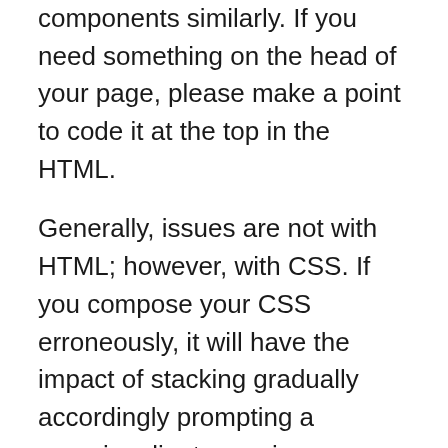components similarly. If you need something on the head of your page, please make a point to code it at the top in the HTML.
Generally, issues are not with HTML; however, with CSS. If you compose your CSS erroneously, it will have the impact of stacking gradually accordingly prompting a superior client experience.
It is additionally a smart thought to see your portable style since cell phones are standard. You may require in any event an essential CSS Training to get a thought of this divine side and have the option to recognize issues with the code yourself.